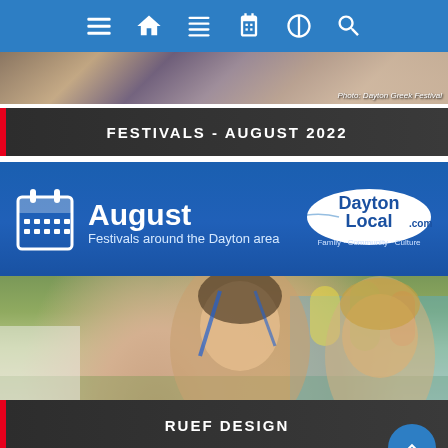[Figure (screenshot): Navigation bar with hamburger menu, home, list, calendar, globe, and search icons on blue background]
[Figure (photo): Top photo strip showing festival crowd scene. Caption reads: Photo: Dayton Greek Festival]
FESTIVALS - AUGUST 2022
[Figure (infographic): Blue banner with calendar icon, text 'August Festivals around the Dayton area' and DaytonLocal.com logo with tagline 'Family · Community · Culture']
[Figure (photo): Festival photo showing two smiling women at outdoor festival, with bouncy castle in background. Caption reads: Photo: Germanfest Picnic]
RUEF DESIGN